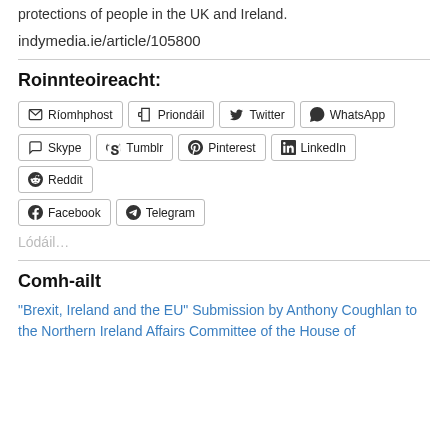protections of people in the UK and Ireland.
indymedia.ie/article/105800
Roinnteoireacht:
[Figure (other): Social sharing buttons: Ríomhphost, Priondáil, Twitter, WhatsApp, Skype, Tumblr, Pinterest, LinkedIn, Reddit, Facebook, Telegram]
Lódáil…
Comh-ailt
“Brexit, Ireland and the EU” Submission by Anthony Coughlan to the Northern Ireland Affairs Committee of the House of